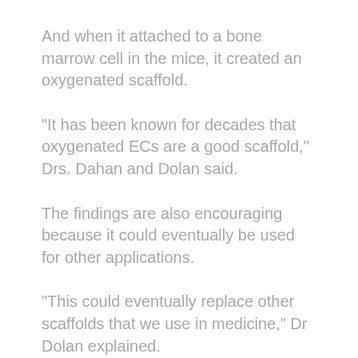And when it attached to a bone marrow cell in the mice, it created an oxygenated scaffold.
“It has been known for decades that oxygenated ECs are a good scaffold,” Drs. Dahan and Dolan said.
The findings are also encouraging because it could eventually be used for other applications.
“This could eventually replace other scaffolds that we use in medicine,” Dr Dolan explained.
“You could imagine this being used in treating people with heart diseases or for repairing broken bones.”